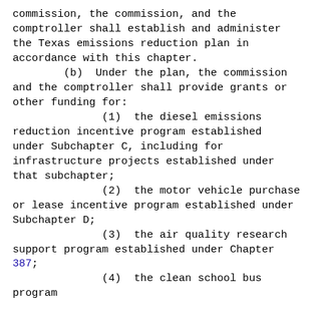commission, the commission, and the comptroller shall establish and administer the Texas emissions reduction plan in accordance with this chapter.
        (b)  Under the plan, the commission and the comptroller shall provide grants or other funding for:
              (1)  the diesel emissions reduction incentive program established under Subchapter C, including for infrastructure projects established under that subchapter;
              (2)  the motor vehicle purchase or lease incentive program established under Subchapter D;
              (3)  the air quality research support program established under Chapter 387;
              (4)  the clean school bus program